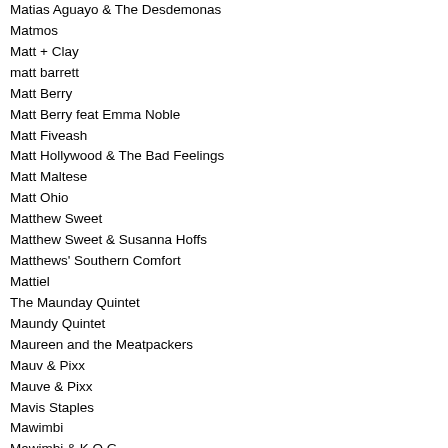Matias Aguayo & The Desdemonas
Matmos
Matt + Clay
matt barrett
Matt Berry
Matt Berry feat Emma Noble
Matt Fiveash
Matt Hollywood & The Bad Feelings
Matt Maltese
Matt Ohio
Matthew Sweet
Matthew Sweet & Susanna Hoffs
Matthews' Southern Comfort
Mattiel
The Maunday Quintet
Maundy Quintet
Maureen and the Meatpackers
Mauv & Pixx
Mauve & Pixx
Mavis Staples
Mawimbi
Mawimbi & K.O.G.
Mawimbi Feat. Pouvoir Magique & Flavia Coelho
Mawimbi, Spoek, Mathambo & Morena Leraba
Max Frost & the Troopers
Max Frost And The Troopers
Maxayn
Maximum Joy
Maxine Brown
Maxine Nightingale
Mayer Hawthorne
Mayflies USA
Mayo Thompson
The Mayor of Rugby North Dakota Calls in
Mazy Starr
Mazzy Star
MC Tunes v 808 State
MC Yogi